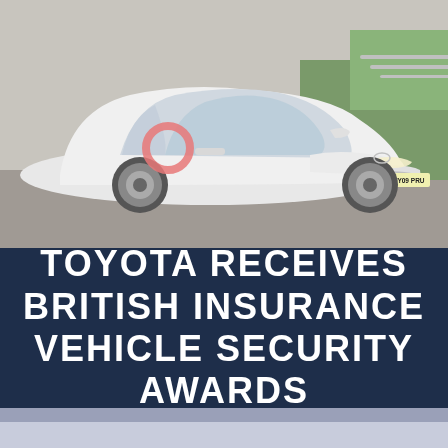[Figure (photo): A white Toyota Prius hybrid car photographed from a front three-quarter angle. The car has a pink/red circular Thatcham logo on the door. License plate reads TY09 PRU. Background shows a road and green vegetation.]
TOYOTA RECEIVES BRITISH INSURANCE VEHICLE SECURITY AWARDS